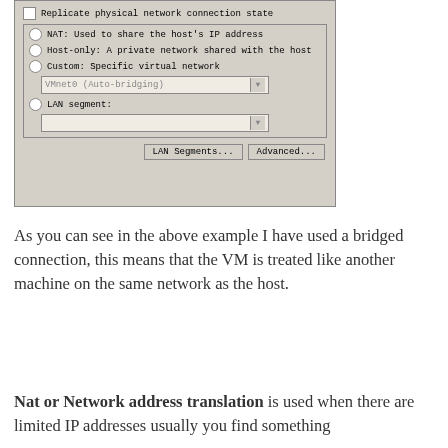[Figure (screenshot): VMware virtual machine network settings dialog showing options: Replicate physical network connection state (checkbox), NAT, Host-only, Custom (with VMnet0 Auto-bridging dropdown), and LAN segment options, plus LAN Segments... and Advanced... buttons.]
As you can see in the above example I have used a bridged connection, this means that the VM is treated like another machine on the same network as the host.
Nat or Network address translation is used when there are limited IP addresses usually you find something